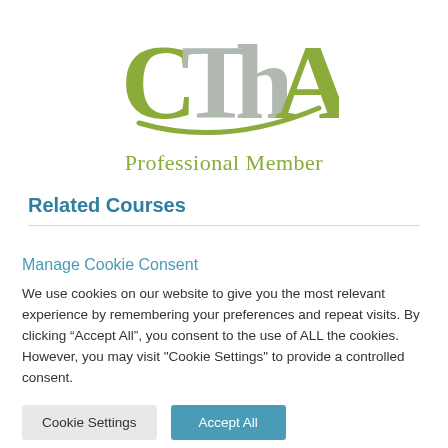[Figure (logo): CTh A Professional Member logo with green stylized letters and a grey-green swoosh, with 'Professional Member' text below in olive green]
Related Courses
Manage Cookie Consent
We use cookies on our website to give you the most relevant experience by remembering your preferences and repeat visits. By clicking “Accept All”, you consent to the use of ALL the cookies. However, you may visit "Cookie Settings" to provide a controlled consent.
Cookie Settings | Accept All